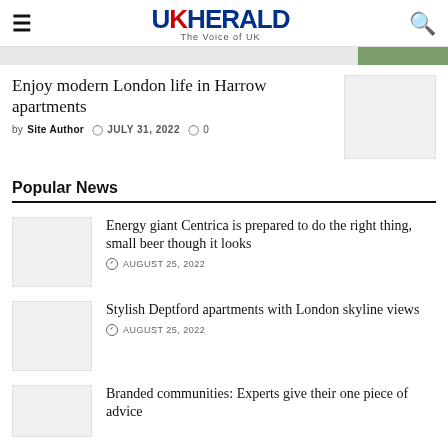UK Herald - The Voice of UK
Enjoy modern London life in Harrow apartments
by Site Author  JULY 31, 2022  0
Popular News
Energy giant Centrica is prepared to do the right thing, small beer though it looks
AUGUST 25, 2022
Stylish Deptford apartments with London skyline views
AUGUST 25, 2022
Branded communities: Experts give their one piece of advice